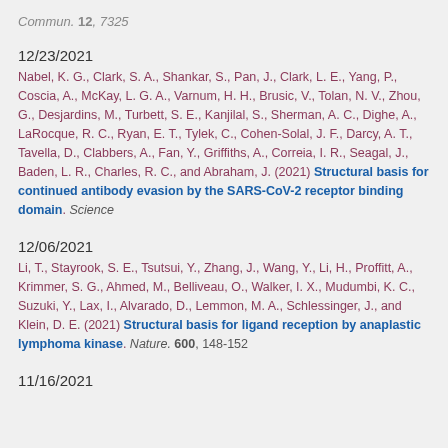Commun. 12, 7325
12/23/2021
Nabel, K. G., Clark, S. A., Shankar, S., Pan, J., Clark, L. E., Yang, P., Coscia, A., McKay, L. G. A., Varnum, H. H., Brusic, V., Tolan, N. V., Zhou, G., Desjardins, M., Turbett, S. E., Kanjilal, S., Sherman, A. C., Dighe, A., LaRocque, R. C., Ryan, E. T., Tylek, C., Cohen-Solal, J. F., Darcy, A. T., Tavella, D., Clabbers, A., Fan, Y., Griffiths, A., Correia, I. R., Seagal, J., Baden, L. R., Charles, R. C., and Abraham, J. (2021) Structural basis for continued antibody evasion by the SARS-CoV-2 receptor binding domain. Science
12/06/2021
Li, T., Stayrook, S. E., Tsutsui, Y., Zhang, J., Wang, Y., Li, H., Proffitt, A., Krimmer, S. G., Ahmed, M., Belliveau, O., Walker, I. X., Mudumbi, K. C., Suzuki, Y., Lax, I., Alvarado, D., Lemmon, M. A., Schlessinger, J., and Klein, D. E. (2021) Structural basis for ligand reception by anaplastic lymphoma kinase. Nature. 600, 148-152
11/16/2021